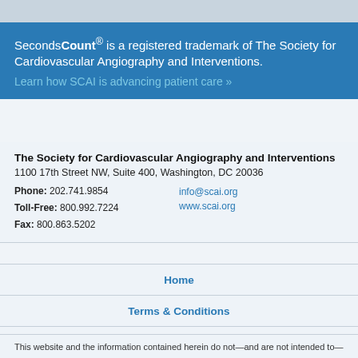SecondsCount® is a registered trademark of The Society for Cardiovascular Angiography and Interventions. Learn how SCAI is advancing patient care »
The Society for Cardiovascular Angiography and Interventions
1100 17th Street NW, Suite 400, Washington, DC 20036
Phone: 202.741.9854
Toll-Free: 800.992.7224
Fax: 800.863.5202
info@scai.org
www.scai.org
Home
Terms & Conditions
About SCAI
This website and the information contained herein do not—and are not intended to—